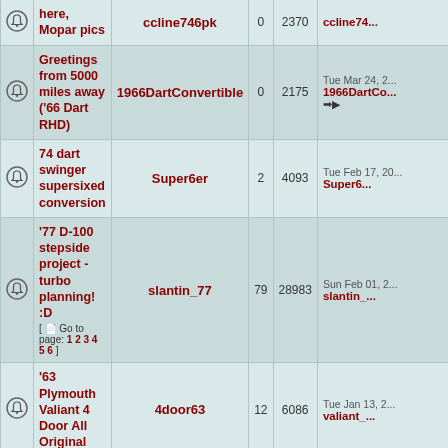|  | Title | Author | Replies | Views | Last Post |
| --- | --- | --- | --- | --- | --- |
|  | here, Mopar pics | ccline746pk | 0 | 2370 | ccline74... |
|  | Greetings from 5000 miles away ('66 Dart RHD) | 1966DartConvertible | 0 | 2175 | Tue Mar 24, 2... 1966DartCo... |
|  | 74 dart swinger supersixed conversion | Super6er | 2 | 4093 | Tue Feb 17, 20... Super6... |
|  | '77 D-100 stepside project - turbo planning! :D [ Go to page: 1 2 3 4 5 6 ] | slantin_77 | 79 | 28983 | Sun Feb 01, 2... slantin_... |
|  | '63 Plymouth Valiant 4 Door All Original | 4door63 | 12 | 6086 | Tue Jan 13, 2... valiant_... |
|  | Uh-OH.....NOW I've done it! MORE pics! | GTS225 | 26 | 8857 | Tue Dec 23, 2... mopar... |